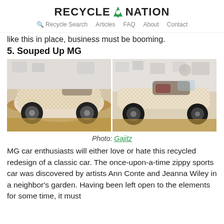RECYCLE NATION
Recycle Search   Articles   FAQ   About   Contact
like this in place, business must be booming.
5. Souped Up MG
[Figure (photo): Two side-by-side photos of an MG sports car covered in a checkered/woven pattern material, shown in an indoor gallery or room setting.]
Photo: Gajitz
MG car enthusiasts will either love or hate this recycled redesign of a classic car. The once-upon-a-time zippy sports car was discovered by artists Ann Conte and Jeanna Wiley in a neighbor's garden. Having been left open to the elements for some time, it must